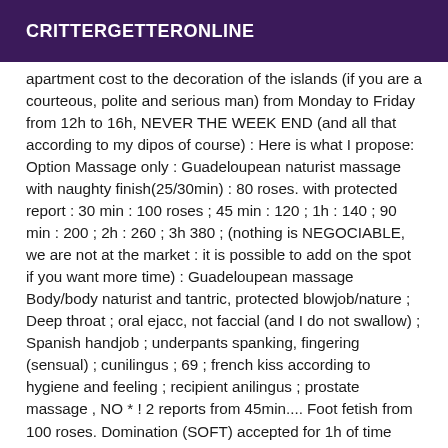CRITTERGETTERONLINE
apartment cost to the decoration of the islands (if you are a courteous, polite and serious man) from Monday to Friday from 12h to 16h, NEVER THE WEEK END (and all that according to my dipos of course) : Here is what I propose: Option Massage only : Guadeloupean naturist massage with naughty finish(25/30min) : 80 roses. with protected report : 30 min : 100 roses ; 45 min : 120 ; 1h : 140 ; 90 min : 200 ; 2h : 260 ; 3h 380 ; (nothing is NEGOCIABLE, we are not at the market : it is possible to add on the spot if you want more time) : Guadeloupean massage Body/body naturist and tantric, protected blowjob/nature ; Deep throat ; oral ejacc, not faccial (and I do not swallow) ; Spanish handjob ; underpants spanking, fingering (sensual) ; cunilingus ; 69 ; french kiss according to hygiene and feeling ; recipient anilingus ; prostate massage , NO * ! 2 reports from 45min.... Foot fetish from 100 roses. Domination (SOFT) accepted for 1h of time mini...(140) For more